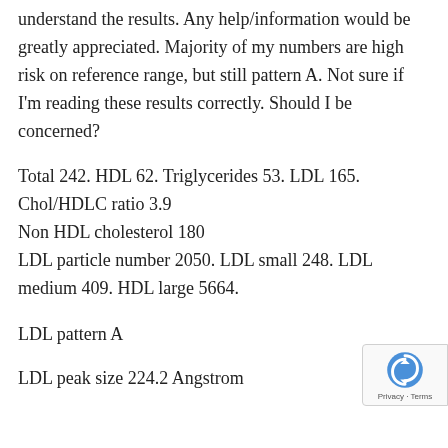understand the results. Any help/information would be greatly appreciated. Majority of my numbers are high risk on reference range, but still pattern A. Not sure if I'm reading these results correctly. Should I be concerned?
Total 242. HDL 62. Triglycerides 53. LDL 165.
Chol/HDLC ratio 3.9
Non HDL cholesterol 180
LDL particle number 2050. LDL small 248. LDL medium 409. HDL large 5664.
LDL pattern A
LDL peak size 224.2 Angstrom